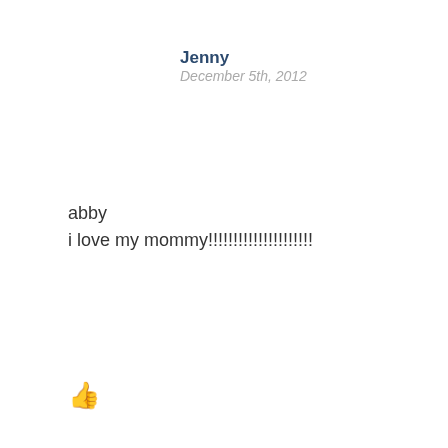Jenny
December 5th, 2012
abby
i love my mommy!!!!!!!!!!!!!!!!!!!!!
👍 Reply
Jenny
December 5th, 2012
Elizabeth – Abby, my 9-year-old, is with me (as you can see above!) and she says that she still loves to play that stacking game. She would also like to add that Elizabeth is her best friend's name.